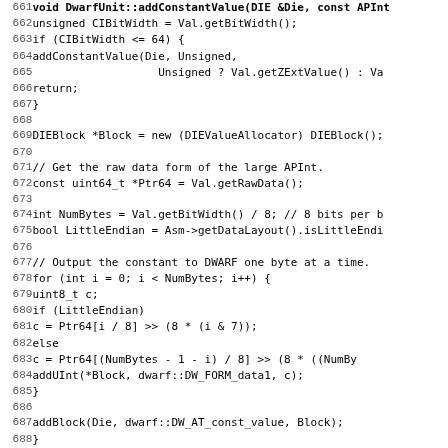[Figure (screenshot): Source code listing in monospace font showing C++ function DwarfUnit::addConstantValue and start of DwarfUnit::addLinkageName, lines 661-692]